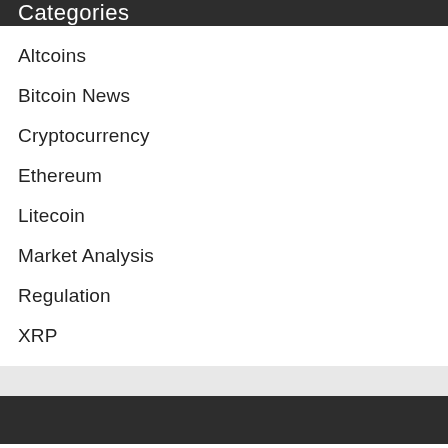Categories
Altcoins
Bitcoin News
Cryptocurrency
Ethereum
Litecoin
Market Analysis
Regulation
XRP
oin(BTC) $19,828.39   Ethereum(ETH) $1,593.89   Cardano(A